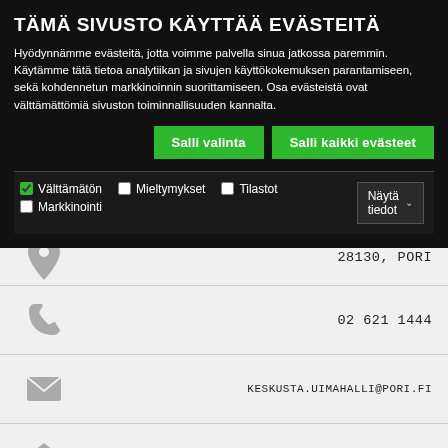TÄMÄ SIVUSTO KÄYTTÄÄ EVÄSTEITÄ
Hyödynnämme evästeitä, jotta voimme palvella sinua jatkossa paremmin. Käytämme tätä tietoa analytiikan ja sivujen käyttökokemuksen parantamiseen, sekä kohdennetun markkinoinnin suorittamiseen. Osa evästeistä ovat välttämättömiä sivuston toiminnallisuuden kannalta.
Salli valinta
Salli kaikki evästeet
Välttämätön  Mieltymykset  Tilastot  Markkinointi  Näytä tiedot
28130, PORI
02 621 1444
KESKUSTA.UIMAHALLI@PORI.FI
WEBSITE